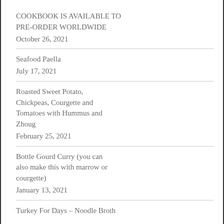COOKBOOK IS AVAILABLE TO PRE-ORDER WORLDWIDE
October 26, 2021
Seafood Paella
July 17, 2021
Roasted Sweet Potato, Chickpeas, Courgette and Tomatoes with Hummus and Zhoug
February 25, 2021
Bottle Gourd Curry (you can also make this with marrow or courgette)
January 13, 2021
Turkey For Days – Noodle Broth